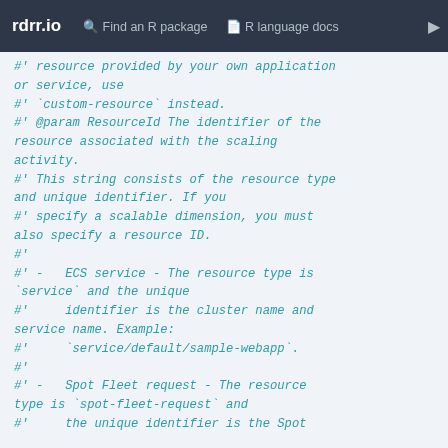rdrr.io   Find an R package   R language docs
#' resource provided by your own application or service, use
#' `custom-resource` instead.
#' @param ResourceId The identifier of the resource associated with the scaling activity.
#' This string consists of the resource type and unique identifier. If you
#' specify a scalable dimension, you must also specify a resource ID.
#'
#' -   ECS service - The resource type is `service` and the unique
#'     identifier is the cluster name and service name. Example:
#'     `service/default/sample-webapp`.
#'
#' -   Spot Fleet request - The resource type is `spot-fleet-request` and
#'     the unique identifier is the Spot